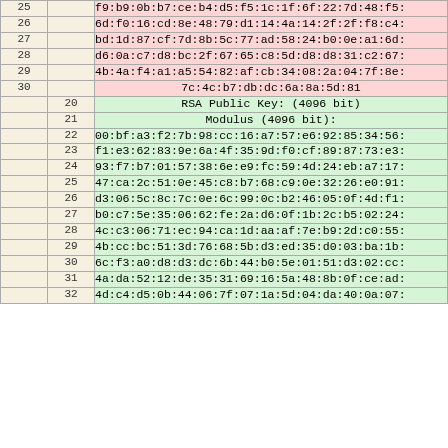|  |  | data |
| --- | --- | --- |
| 25 |  | f9:b9:0b:b7:ce:b4:d5:f5:1c:1f:6f:22:7d:48:f5: |
| 26 |  | 6d:f0:16:cd:8e:48:79:d1:14:4a:14:2f:2f:f8:c4: |
| 27 |  | bd:1d:87:cf:7d:8b:5c:77:ad:58:24:b0:0e:a1:6d: |
| 28 |  | d6:0a:c7:d8:bc:2f:67:65:c8:5d:d8:d8:31:c2:67: |
| 29 |  | 4b:4a:f4:a1:a5:54:82:af:cb:34:08:2a:04:7f:8e: |
| 30 |  | 7c:4c:b7:db:dc:6a:8a:5d:81 |
|  | 20 | RSA Public Key: (4096 bit) |
|  | 21 | Modulus (4096 bit): |
|  | 22 | 00:bf:a3:f2:7b:98:cc:16:a7:57:e6:92:85:34:56: |
|  | 23 | f1:e3:62:83:9e:6a:4f:35:9d:f0:cf:89:87:73:e3: |
|  | 24 | 93:f7:b7:01:57:38:6e:e9:fc:59:4d:24:eb:a7:17: |
|  | 25 | 47:ca:2c:51:0e:45:c8:b7:68:c9:0e:32:26:e0:91: |
|  | 26 | d3:06:5c:8c:7c:0e:6c:99:0c:b2:46:05:0f:4d:f1: |
|  | 27 | b0:c7:5e:35:06:62:fe:2a:d6:0f:1b:2c:b5:02:24: |
|  | 28 | 4c:c3:06:71:ec:94:ca:1d:aa:af:7e:b9:2d:c0:55: |
|  | 29 | 4b:cc:bc:51:3d:76:68:5b:d3:ed:35:d0:03:ba:1b: |
|  | 30 | 6c:f3:a0:d8:d3:dc:6b:44:b0:5e:01:51:d3:02:cc: |
|  | 31 | 4a:da:52:12:de:35:31:69:16:5a:48:8b:0f:ce:ad: |
|  | 32 | 4d:... |